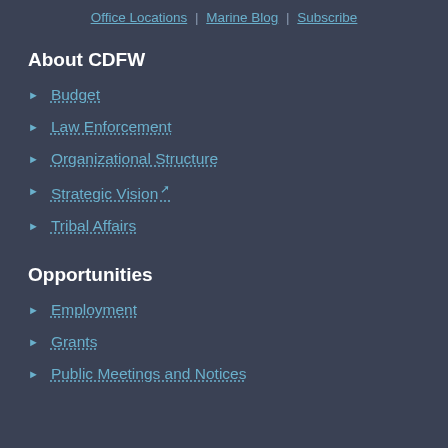Office Locations | Marine Blog | Subscribe
About CDFW
Budget
Law Enforcement
Organizational Structure
Strategic Vision
Tribal Affairs
Opportunities
Employment
Grants
Public Meetings and Notices